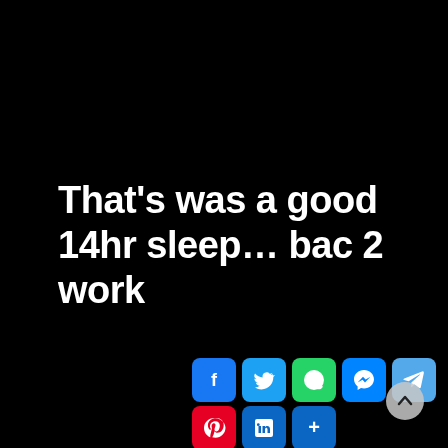That's was a good 14hr sleep... bac 2 work
[Figure (infographic): Social media share buttons: Facebook, Twitter, WhatsApp, Messenger, Telegram (row 1); Pinterest, LinkedIn, More (row 2)]